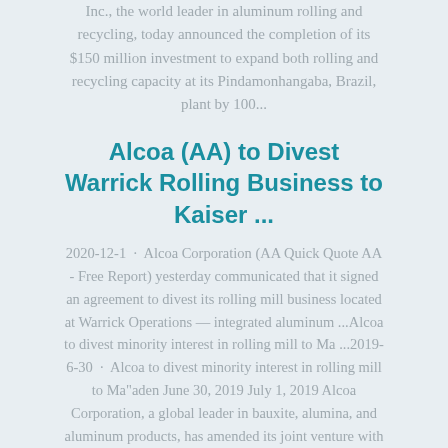Inc., the world leader in aluminum rolling and recycling, today announced the completion of its $150 million investment to expand both rolling and recycling capacity at its Pindamonhangaba, Brazil, plant by 100...
Alcoa (AA) to Divest Warrick Rolling Business to Kaiser ...
2020-12-1 · Alcoa Corporation (AA Quick Quote AA - Free Report) yesterday communicated that it signed an agreement to divest its rolling mill business located at Warrick Operations — integrated aluminum ...Alcoa to divest minority interest in rolling mill to Ma ...2019-6-30 · Alcoa to divest minority interest in rolling mill to Ma"aden June 30, 2019 July 1, 2019 Alcoa Corporation, a global leader in bauxite, alumina, and aluminum products, has amended its joint venture with the Saudi